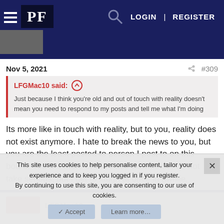PF — LOGIN | REGISTER
Nov 5, 2021  #309
LFGMac10 said: ↑
Just because I think you're old and out of touch with reality doesn't mean you need to respond to my posts and tell me what I'm doing
Its more like in touch with reality, but to you, reality does not exist anymore. I hate to break the news to you, but you are the least posted to person I post to on this board. You are more of the class clown that I do not take serious, but I get to laugh at once in awhile.
This site uses cookies to help personalise content, tailor your experience and to keep you logged in if you register.
By continuing to use this site, you are consenting to our use of cookies.